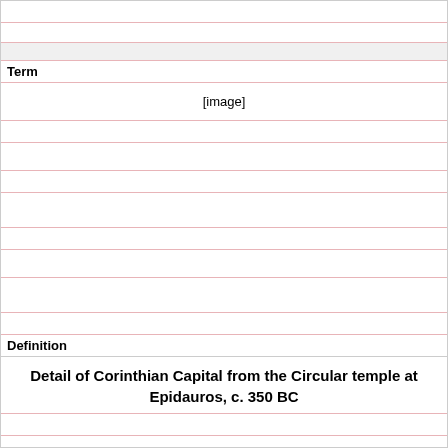Term
[Figure (other): [image]]
Definition
Detail of Corinthian Capital from the Circular temple at Epidauros, c. 350 BC